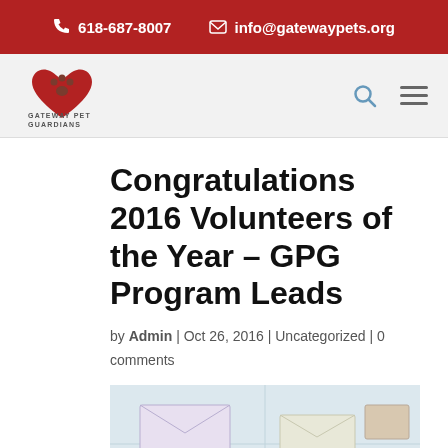📞 618-687-8007   ✉ info@gatewaypets.org
[Figure (logo): Gateway Pet Guardians logo with paw print and heart icon]
Congratulations 2016 Volunteers of the Year – GPG Program Leads
by Admin | Oct 26, 2016 | Uncategorized | 0 comments
[Figure (photo): Photograph showing organized envelopes and papers on a surface, partially visible]